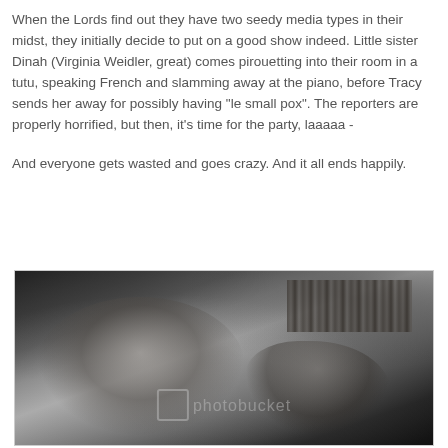When the Lords find out they have two seedy media types in their midst, they initially decide to put on a good show indeed. Little sister Dinah (Virginia Weidler, great) comes pirouetting into their room in a tutu, speaking French and slamming away at the piano, before Tracy sends her away for possibly having "le small pox". The reporters are properly horrified, but then, it's time for the party, laaaaa -
And everyone gets wasted and goes crazy. And it all ends happily.
[Figure (photo): Black and white still photograph from a classic film showing two people in close conversation, with bookshelves visible in the background. A Photobucket watermark is visible on the image.]